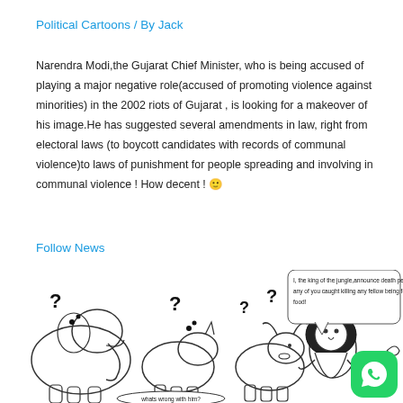Political Cartoons / By Jack
Narendra Modi,the Gujarat Chief Minister, who is being accused of playing a major negative role(accused of promoting violence against minorities) in the 2002 riots of Gujarat , is looking for a makeover of his image.He has suggested several amendments in law, right from  electoral laws (to boycott candidates with records of communal violence)to laws of punishment for people spreading and involving in communal violence ! How decent ! 🙂
Follow News
[Figure (illustration): Political cartoon showing animals (elephant, rhino, bull/ox) with question marks in speech bubbles, and a lion-like figure saying 'I, the king of the jungle,announce death penalty to any of you caught killing any fellow being for food!' with caption 'whats wrong with him?' at the bottom]